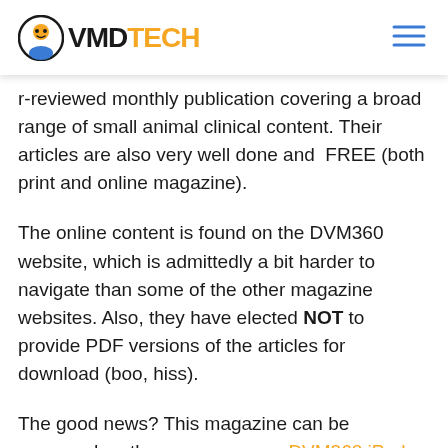VMDTECH
r-reviewed monthly publication covering a broad range of small animal clinical content. Their articles are also very well done and  FREE (both print and online magazine).
The online content is found on the DVM360 website, which is admittedly a bit harder to navigate than some of the other magazine websites. Also, they have elected NOT to provide PDF versions of the articles for download (boo, hiss).
The good news? This magazine can be accessed on the new awesome DVM360 iPad app. Phew!